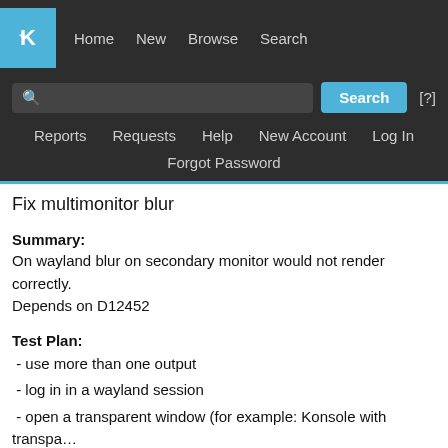KDE | Home  New  Browse  Search
Search [?]
Reports  Requests  Help  New Account  Log In
Forgot Password
Fix multimonitor blur
Summary:
On wayland blur on secondary monitor would not render correctly.
Depends on D12452
Test Plan:
- use more than one output
- log in in a wayland session
- open a transparent window (for example: Konsole with transparency)
- drag the window to another screen
- blurs the content under the window corretly